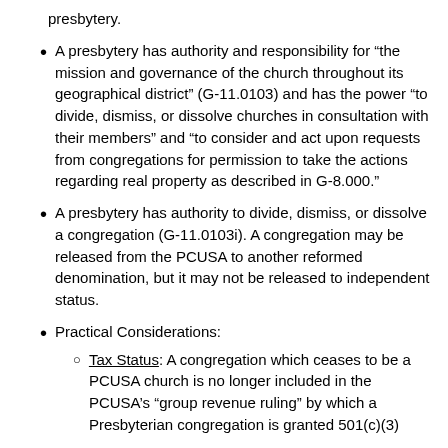presbytery.
A presbytery has authority and responsibility for “the mission and governance of the church throughout its geographical district” (G-11.0103) and has the power “to divide, dismiss, or dissolve churches in consultation with their members” and “to consider and act upon requests from congregations for permission to take the actions regarding real property as described in G-8.000.”
A presbytery has authority to divide, dismiss, or dissolve a congregation (G-11.0103i). A congregation may be released from the PCUSA to another reformed denomination, but it may not be released to independent status.
Practical Considerations:
Tax Status: A congregation which ceases to be a PCUSA church is no longer included in the PCUSA’s “group revenue ruling” by which a Presbyterian congregation is granted 501(c)(3)